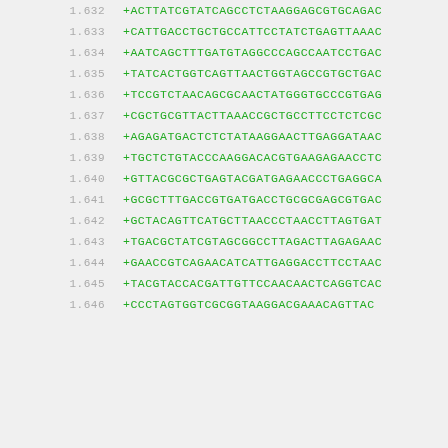1.632  +ACTTATCGTATCAGCCTCTAAGGAGCGTGCAGAC
1.633  +CATTGACCTGCTGCCATTCCTATCTGAGTTAAAC
1.634  +AATCAGCTTTGATGTAGGCCCAGCCAATCCTGAC
1.635  +TATCACTGGTCAGTTAACTGGTAGCCGTGCTGAC
1.636  +TCCGTCTAACAGCGCAACTATGGGTGCCCGTGAG
1.637  +CGCTGCGTTACTTAAACCGCTGCCTTCCTCTCGC
1.638  +AGAGATGACTCTCTATAAGGAACTTGAGGATAAC
1.639  +TGCTCTGTACCCAAGGACACGTGAAGAGAACCTC
1.640  +GTTACGCGCTGAGTACGATGAGAACCCTGAGGCA
1.641  +GCGCTTTGACCGTGATGACCTGCGCGAGCGTGAC
1.642  +GCTACAGTTCATGCTTAACCCTAACCTTAGTGAT
1.643  +TGACGCTATCGTAGCGGCCTTAGACTTAGAGAAC
1.644  +GAACCGTCAGAACATCATTGAGGACCTTCCTAAC
1.645  +TACGTACCACGATTGTTCCAACAACTCAGGTCAC
1.646  +CCCTAGTGGTCGCGGTAAGGACGAAACAGTTAC